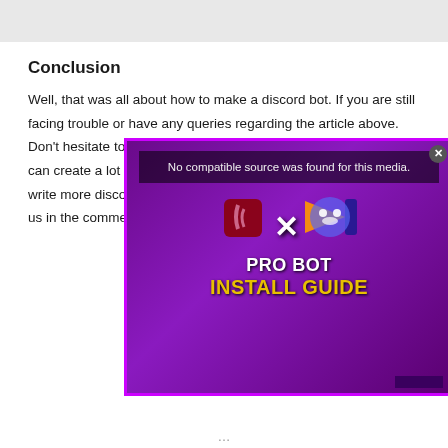Conclusion
Well, that was all about how to make a discord bot. If you are still facing trouble or have any queries regarding the article above. Don't hesitate to ask us. Python is a powerful language and we can create a lot more than the text bots. So, if you want us to write more discord.py codes for different events then do write to us in the comments section.
[Figure (screenshot): Video player overlay showing 'No compatible source was found for this media.' with Python and Discord logos and an X mark, titled 'PRO BOT INSTALL GUIDE' with purple background and yellow text.]